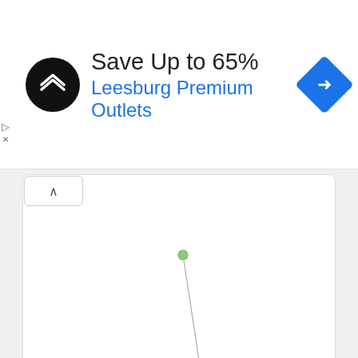[Figure (infographic): Advertisement banner: black circular logo with double arrow icon, text 'Save Up to 65%' and 'Leesburg Premium Outlets', blue diamond navigation icon on right]
[Figure (network-graph): Network graph showing two green nodes connected by a line. Small green node at top center connected by a diagonal line to a larger green node lower center, labeled 'sinking feeling']
[Figure (infographic): Legend panel showing: NOUN (green circle), VERB (blue circle), ADJECTIVE (tan/beige circle), ADVERB (pink circle)]